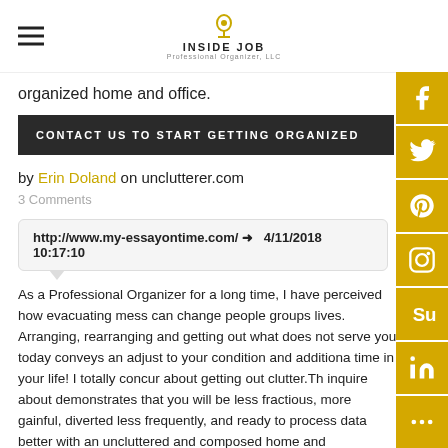INSIDE JOB Professional Organizer, LLC
organized home and office.
CONTACT US TO START GETTING ORGANIZED
by Erin Doland on unclutterer.com
3 Comments
http://www.my-essayontime.com/ → 4/11/2018 10:17:10
As a Professional Organizer for a long time, I have perceived how evacuating mess can change people groups lives. Arranging, rearranging and getting out what does not serve you today conveys an adjust to your condition and additionally time in your life! I totally concur about getting out clutter.The inquire about demonstrates that you will be less fractious, more gainful, diverted less frequently, and ready to process data better with an uncluttered and composed home and